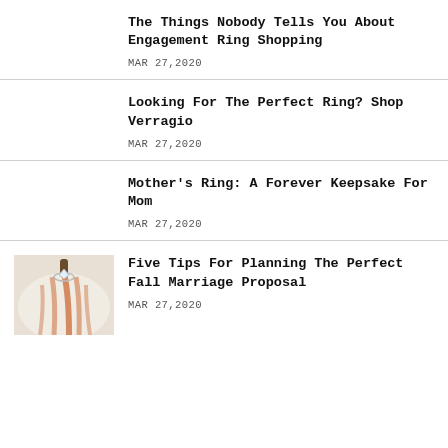The Things Nobody Tells You About Engagement Ring Shopping
MAR 27,2020
Looking For The Perfect Ring? Shop Verragio
MAR 27,2020
Mother's Ring: A Forever Keepsake For Mom
MAR 27,2020
[Figure (photo): A diamond ring placed on top of a white and orange pumpkin]
Five Tips For Planning The Perfect Fall Marriage Proposal
MAR 27,2020